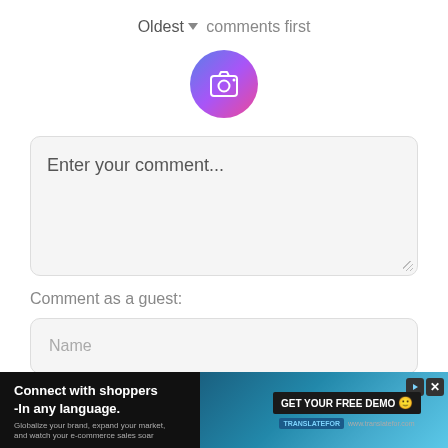Oldest ▾ comments first
[Figure (illustration): Circular avatar icon with gradient background (blue to purple to pink) containing a white camera icon]
Enter your comment...
Comment as a guest:
Name
Email (not displayed publicly)
[Figure (screenshot): Advertisement banner: 'Connect with shoppers -In any language.' with GET YOUR FREE DEMO call-to-action button on dark background]